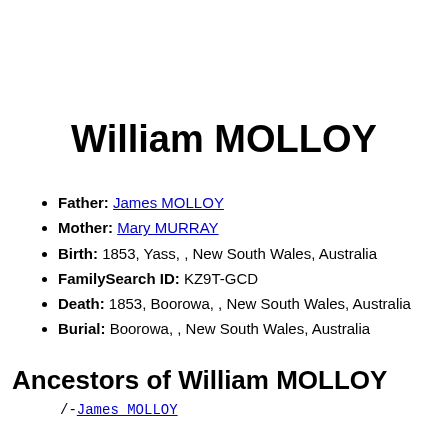William MOLLOY
Father: James MOLLOY
Mother: Mary MURRAY
Birth: 1853, Yass, , New South Wales, Australia
FamilySearch ID: KZ9T-GCD
Death: 1853, Boorowa, , New South Wales, Australia
Burial: Boorowa, , New South Wales, Australia
Ancestors of William MOLLOY
/-James MOLLOY